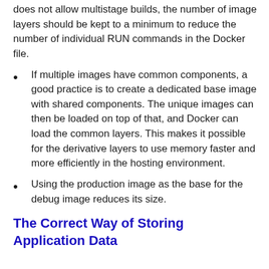does not allow multistage builds, the number of image layers should be kept to a minimum to reduce the number of individual RUN commands in the Docker file.
If multiple images have common components, a good practice is to create a dedicated base image with shared components. The unique images can then be loaded on top of that, and Docker can load the common layers. This makes it possible for the derivative layers to use memory faster and more efficiently in the hosting environment.
Using the production image as the base for the debug image reduces its size.
The Correct Way of Storing Application Data